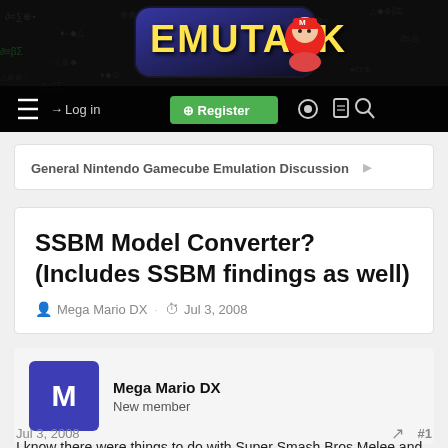[Figure (screenshot): EmuTalk forum website header banner with logo and navigation bar including hamburger menu, Log in link, Register button, and icons]
General Nintendo Gamecube Emulation Discussion
SSBM Model Converter? (Includes SSBM findings as well)
Mega Mario DX · Jul 3, 2008
Mega Mario DX
New member
Jul 3, 2008  #1
I know there were things to do with Super Smash Bros Melee and